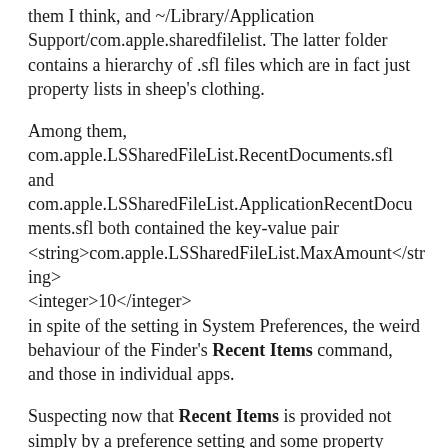them I think, and ~/Library/Application Support/com.apple.sharedfilelist. The latter folder contains a hierarchy of .sfl files which are in fact just property lists in sheep's clothing.
Among them, com.apple.LSSharedFileList.RecentDocuments.sfl and com.apple.LSSharedFileList.ApplicationRecentDocuments.sfl both contained the key-value pair <string>com.apple.LSSharedFileList.MaxAmount</string> <integer>10</integer> in spite of the setting in System Preferences, the weird behaviour of the Finder's Recent Items command, and those in individual apps.
Suspecting now that Recent Items is provided not simply by a preference setting and some property lists, and armed with the magic word fragment